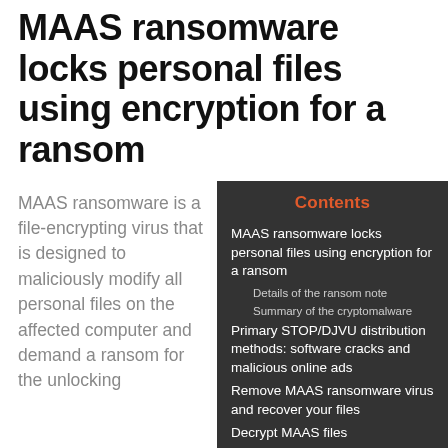MAAS ransomware locks personal files using encryption for a ransom
MAAS ransomware is a file-encrypting virus that is designed to maliciously modify all personal files on the affected computer and demand a ransom for the unlocking
Contents
MAAS ransomware locks personal files using encryption for a ransom
Details of the ransom note
Summary of the cryptomalware
Primary STOP/DJVU distribution methods: software cracks and malicious online ads
Remove MAAS ransomware virus and recover your files
Decrypt MAAS files
Fix and open large MAAS files easily:
STOP/DJVU decryption tool